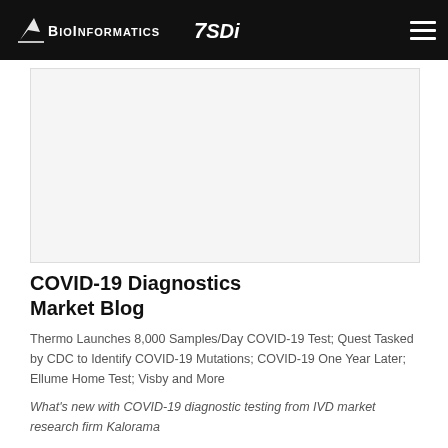BioInformatics SDi
[Figure (photo): Placeholder/advertisement image block, light gray background]
COVID-19 Diagnostics Market Blog
Thermo Launches 8,000 Samples/Day COVID-19 Test; Quest Tasked by CDC to Identify COVID-19 Mutations; COVID-19 One Year Later; Ellume Home Test; Visby and More
What's new with COVID-19 diagnostic testing from IVD market research firm Kalorama
Continue reading…